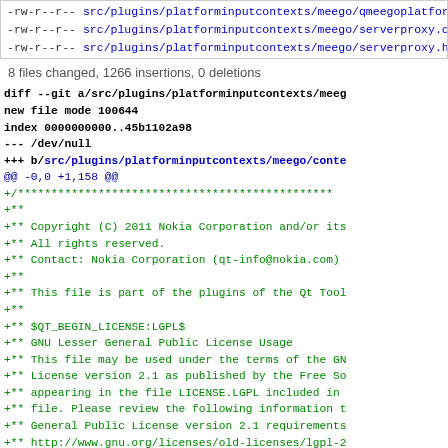-rw-r--r-- src/plugins/platforminputcontexts/meego/qmeegoplatforminputcontext.h
-rw-r--r-- src/plugins/platforminputcontexts/meego/serverproxy.cpp
-rw-r--r-- src/plugins/platforminputcontexts/meego/serverproxy.h
8 files changed, 1266 insertions, 0 deletions
diff --git a/src/plugins/platforminputcontexts/meego
new file mode 100644
index 0000000000..45b1102a98
--- /dev/null
+++ b/src/plugins/platforminputcontexts/meego/conte
@@ -0,0 +1,158 @@
+/***********************************************
+**
+** Copyright (C) 2011 Nokia Corporation and/or its
+** All rights reserved.
+** Contact: Nokia Corporation (qt-info@nokia.com)
+**
+** This file is part of the plugins of the Qt Tool
+**
+** $QT_BEGIN_LICENSE:LGPL$
+** GNU Lesser General Public License Usage
+** This file may be used under the terms of the GN
+** License version 2.1 as published by the Free So
+** appearing in the file LICENSE.LGPL included in
+** file. Please review the following information t
+** General Public License version 2.1 requirements
+** http://www.gnu.org/licenses/old-licenses/lgpl-2
+**
+** In addition, as a special exception, Nokia give